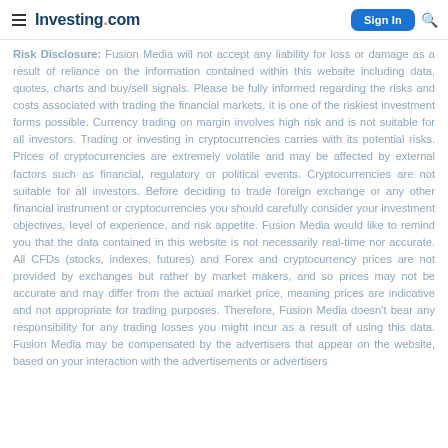Investing.com — Sign In
Risk Disclosure: Fusion Media will not accept any liability for loss or damage as a result of reliance on the information contained within this website including data, quotes, charts and buy/sell signals. Please be fully informed regarding the risks and costs associated with trading the financial markets, it is one of the riskiest investment forms possible. Currency trading on margin involves high risk and is not suitable for all investors. Trading or investing in cryptocurrencies carries with its potential risks. Prices of cryptocurrencies are extremely volatile and may be affected by external factors such as financial, regulatory or political events. Cryptocurrencies are not suitable for all investors. Before deciding to trade foreign exchange or any other financial instrument or cryptocurrencies you should carefully consider your investment objectives, level of experience, and risk appetite. Fusion Media would like to remind you that the data contained in this website is not necessarily real-time nor accurate. All CFDs (stocks, indexes, futures) and Forex and cryptocurrency prices are not provided by exchanges but rather by market makers, and so prices may not be accurate and may differ from the actual market price, meaning prices are indicative and not appropriate for trading purposes. Therefore, Fusion Media doesn't bear any responsibility for any trading losses you might incur as a result of using this data. Fusion Media may be compensated by the advertisers that appear on the website, based on your interaction with the advertisements or advertisers